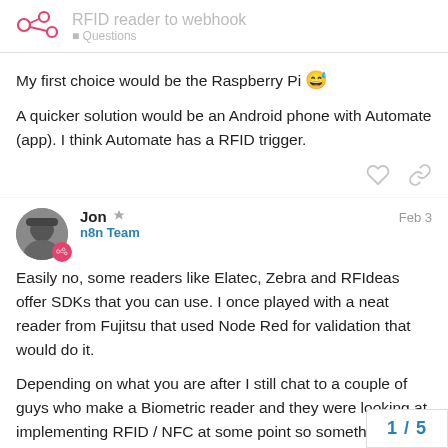RFID reader to webhook
My first choice would be the Raspberry Pi 😅
A quicker solution would be an Android phone with Automate (app). I think Automate has a RFID trigger.
Jon · n8n Team · Feb 3
Easily no, some readers like Elatec, Zebra and RFIdeas offer SDKs that you can use. I once played with a neat reader from Fujitsu that used Node Red for validation that would do it.
Depending on what you are after I still chat to a couple of guys who make a Biometric reader and they were looking at implementing RFID / NFC at some point so something there.
1 / 5